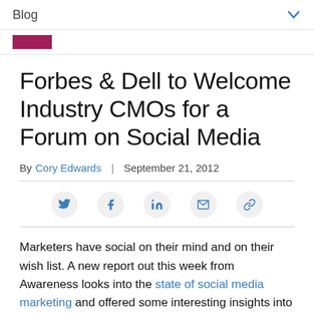Blog
CATEGORY
Forbes & Dell to Welcome Industry CMOs for a Forum on Social Media
By Cory Edwards | September 21, 2012
[Figure (infographic): Social sharing icons: Twitter, Facebook, LinkedIn, Email, Link]
Marketers have social on their mind and on their wish list. A new report out this week from Awareness looks into the state of social media marketing and offered some interesting insights into what marketers want from social media, what their business objectives are, and how they